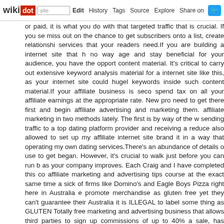wikidot | site | Edit | History | Tags | Source | Explore | Share on Twitter
or paid, it is what you do with that targeted traffic that is crucial. If you send miss out on the chance to get subscribers onto a list, create relationships services that your readers need.If you are building a internet site that ha no way age and stay beneficial for your audience, you have the opportu content material. It's critical to carry out extensive keyword analysis a material for a internet site like this, as your internet site could hugely keywords inside such content material.If your affiliate business is secor spend tax on all your affiliate earnings at the appropriate rate. New produ need to get there first and begin affiliate advertising and marketing them.I affiliate marketing in two methods lately. The first is by way of the we sending traffic to a top dating platform provider and receiving a reduce a also allowed to set up my affiliate internet site brand it in a way that t operating my own dating services.There's an abundance of details out use to get began. However, it's crucial to walk just before you can run by as your company improves. Each Craig and I have completed this cou affiliate marketing and advertising tips course at the exact same time as sick of firms like Domino's and Eagle Boys Pizza right here in Australia ex promote merchandise as gluten free yet they can't guarantee their p Australia it is ILLEGAL to label some thing as GLUTEN Totally free marketing and advertising business that allows third parties to sign up f commissions of up to 40% a sale, has noticed a 26% improve in the qua set up online companies following failing to find employment. Even so, them are destined for disappointment.If you grow to be excellent at cr locate them, you can maintain performing it. There are affiliate marketers to that point, go back to every website at least month-to-month and add o Yahoo will see your web site as a spot where readers will see up to date a lot of approaches. If you want to see the really very first piece of tru extremely very first weblog post I created to this blog (properly possibly 2005 onwards when I began writing about entrepreneurship).Do not m